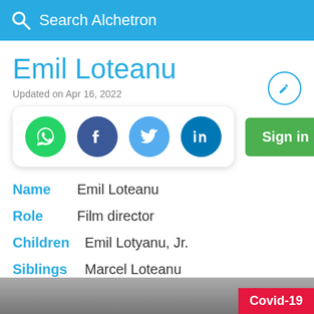Search Alchetron
Emil Loteanu
Updated on Apr 16, 2022
[Figure (other): Social share buttons: WhatsApp, Facebook, Twitter, LinkedIn]
Sign in
Name  Emil Loteanu
Role  Film director
Children  Emil Lotyanu, Jr.
Siblings  Marcel Loteanu
[Figure (photo): Black and white photo strip at bottom of page]
Covid-19